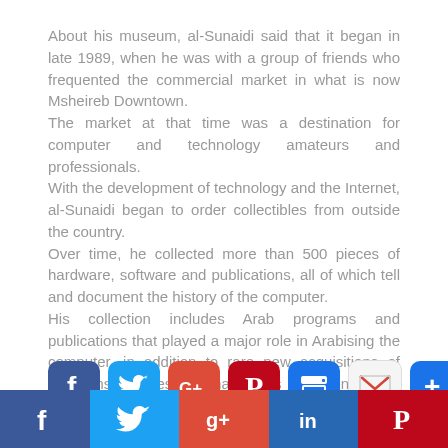About his museum, al-Sunaidi said that it began in late 1989, when he was with a group of friends who frequented the commercial market in what is now Msheireb Downtown. The market at that time was a destination for computer and technology amateurs and professionals. With the development of technology and the Internet, al-Sunaidi began to order collectibles from outside the country. Over time, he collected more than 500 pieces of hardware, software and publications, all of which tell and document the history of the computer. His collection includes Arab programs and publications that played a major role in Arabising the computer, in addition to rare new acquisitions of programs, devices and magazines documenting the development of the computer.
[Figure (infographic): Social share buttons row: Facebook (blue), Twitter (light blue), Google+ (red-orange), Pinterest (red), Print (blue), Gmail (white/red), AddThis (blue with +)]
[Figure (infographic): Bottom social share bar with 5 segments: Facebook (blue), Twitter (light blue), Google+ (red-orange), LinkedIn (dark blue), Pinterest (red)]